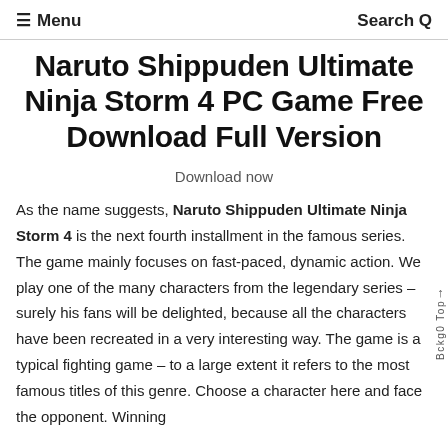≡ Menu   Search Q
Naruto Shippuden Ultimate Ninja Storm 4 PC Game Free Download Full Version
Download now
As the name suggests, Naruto Shippuden Ultimate Ninja Storm 4 is the next fourth installment in the famous series. The game mainly focuses on fast-paced, dynamic action. We play one of the many characters from the legendary series – surely his fans will be delighted, because all the characters have been recreated in a very interesting way. The game is a typical fighting game – to a large extent it refers to the most famous titles of this genre. Choose a character here and face the opponent. Winning